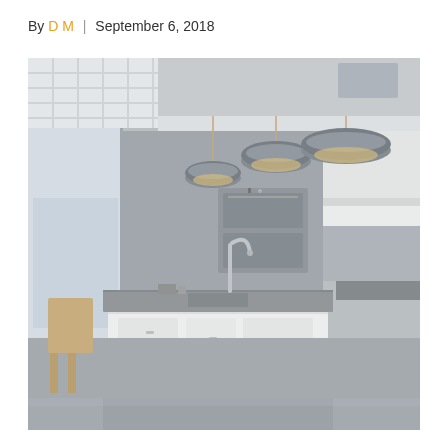By D M | September 6, 2018
[Figure (photo): Modern kitchen interior with a white island countertop, grey pendant lights hanging from the ceiling, white upper cabinets, stainless steel sink and faucet, built-in oven, kitchen utensils on the counter, city view through large window, coffered white ceiling on the left side, reflective grey floor.]